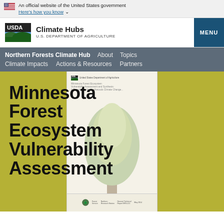An official website of the United States government
Here's how you know
[Figure (logo): USDA Climate Hubs, U.S. Department of Agriculture logo with navigation menu button]
Northern Forests Climate Hub   About   Topics   Climate Impacts   Actions & Resources   Partners
[Figure (screenshot): Minnesota Forest Ecosystem Vulnerability Assessment document preview with large bold title overlay on olive-green background]
Minnesota Forest Ecosystem Vulnerability Assessment